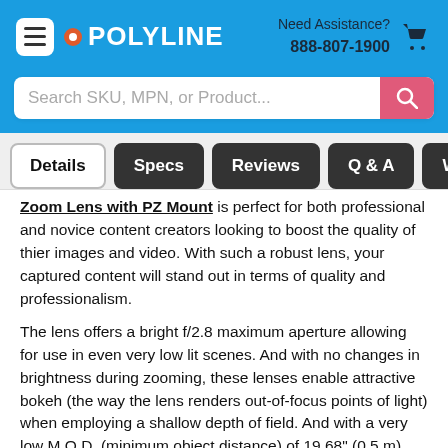POLYLINE | Need Assistance? 888-807-1900
Search SKU, MPN, or Product...
Details | Specs | Reviews | Q & A | Warnings
Zoom Lens with PZ Mount is perfect for both professional and novice content creators looking to boost the quality of thier images and video. With such a robust lens, your captured content will stand out in terms of quality and professionalism.
The lens offers a bright f/2.8 maximum aperture allowing for use in even very low lit scenes. And with no changes in brightness during zooming, these lenses enable attractive bokeh (the way the lens renders out-of-focus points of light) when employing a shallow depth of field. And with a very low M.O.D. (minimum object distance) of 19.68" (0.5 m) this lens